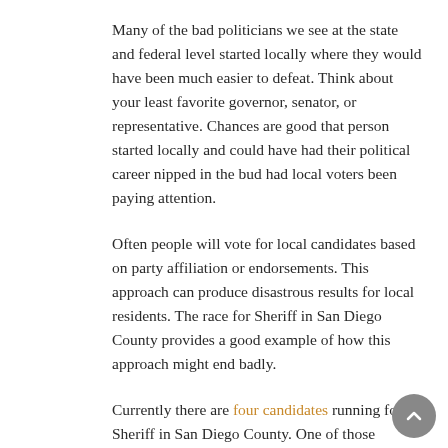Many of the bad politicians we see at the state and federal level started locally where they would have been much easier to defeat. Think about your least favorite governor, senator, or representative. Chances are good that person started locally and could have had their political career nipped in the bud had local voters been paying attention.
Often people will vote for local candidates based on party affiliation or endorsements. This approach can produce disastrous results for local residents. The race for Sheriff in San Diego County provides a good example of how this approach might end badly.
Currently there are four candidates running for Sheriff in San Diego County. One of those candidates is being heavily endorsed...